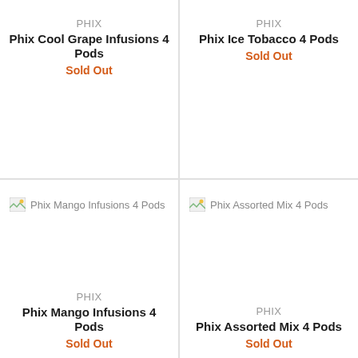PHIX
Phix Cool Grape Infusions 4 Pods
Sold Out
PHIX
Phix Ice Tobacco 4 Pods
Sold Out
[Figure (photo): Broken image placeholder for Phix Mango Infusions 4 Pods]
[Figure (photo): Broken image placeholder for Phix Assorted Mix 4 Pods]
PHIX
Phix Mango Infusions 4 Pods
Sold Out
PHIX
Phix Assorted Mix 4 Pods
Sold Out